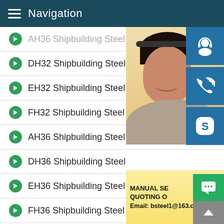Navigation
AH36 Shipbuilding Steel
DH32 Shipbuilding Steel
EH32 Shipbuilding Steel
FH32 Shipbuilding Steel
AH36 Shipbuilding Steel
DH36 Shipbuilding Steel
EH36 Shipbuilding Steel
FH36 Shipbuilding Steel
AH40 Shipbuilding Steel
Corten A
Corten B
A588Grade B
[Figure (photo): Customer service representative with headset, with blue icon buttons for customer support, phone/call, and Skype on the right side, and a promotional band showing MANUAL SERVICE, QUOTING O[RDER], Email: bsteel1@163.com]